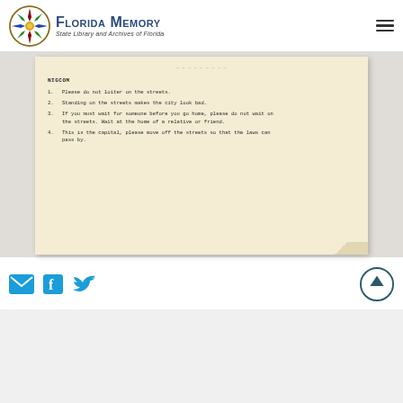Florida Memory — State Library and Archives of Florida
[Figure (photo): Scanned historical typewritten document on yellowed paper with four numbered items about not loitering or standing on streets. Header reads 'NIGCOM'. Items: 1. Please do not loiter on the streets. 2. Standing on the streets makes the city look bad. 3. If you must wait for someone before you go home, please do not wait on the streets. Wait at the home of a relative or friend. 4. This is the capital, please move off the streets so that the laws can pass by.]
Social sharing icons: email, Facebook, Twitter. Scroll to top button.